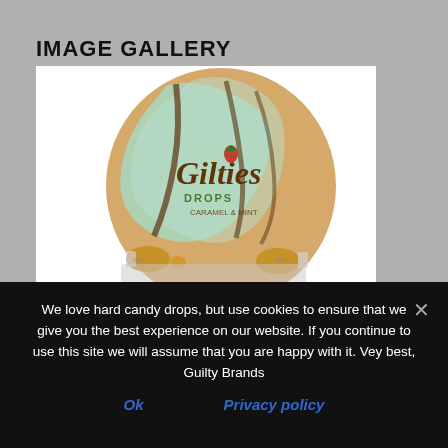IMAGE GALLERY
[Figure (photo): Product image of Gilties Drops caramel & mint candy — a large decorative egg-shaped tin with mint/caramel swirl design, with individual wrapped candy pieces in front]
We love hard candy drops, but use cookies to ensure that we give you the best experience on our website. If you continue to use this site we will assume that you are happy with it. Vey best, Guilty Brands
Ok
Privacy policy